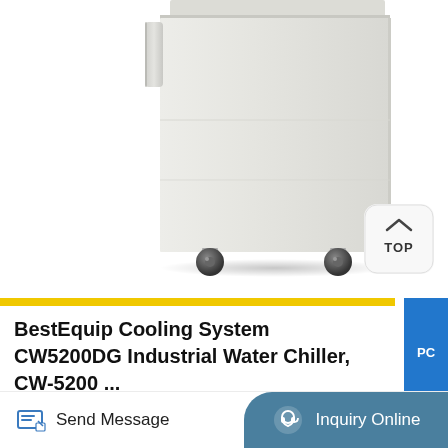[Figure (photo): Industrial water chiller unit (BestEquip CW5200DG) shown from a low angle, white/cream colored metal cabinet on caster wheels, with partial view of top panel and side handle. A 'TOP' navigation button with an upward chevron is visible in the lower right of the image area.]
BestEquip Cooling System CW5200DG Industrial Water Chiller, CW-5200 ...
Send Message
Inquiry Online